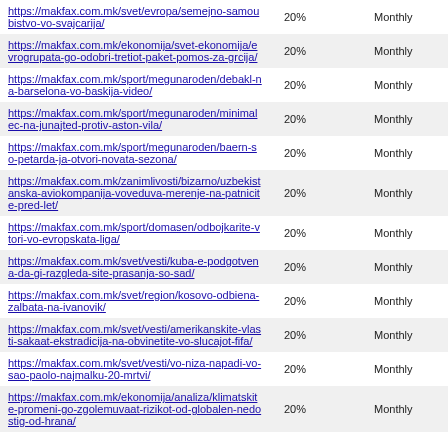| URL | Percentage | Frequency |
| --- | --- | --- |
| https://makfax.com.mk/svet/evropa/semejno-samoubistvo-vo-svajcarija/ | 20% | Monthly |
| https://makfax.com.mk/ekonomija/svet-ekonomija/evrogrupata-go-odobri-tretiot-paket-pomos-za-grcija/ | 20% | Monthly |
| https://makfax.com.mk/sport/megunaroden/debakl-na-barselona-vo-baskija-video/ | 20% | Monthly |
| https://makfax.com.mk/sport/megunaroden/minimalec-na-junajted-protiv-aston-vila/ | 20% | Monthly |
| https://makfax.com.mk/sport/megunaroden/baern-so-petarda-ja-otvori-novata-sezona/ | 20% | Monthly |
| https://makfax.com.mk/zanimlivosti/bizarno/uzbekistanska-aviokompanija-voveduva-merenje-na-patnicite-pred-let/ | 20% | Monthly |
| https://makfax.com.mk/sport/domasen/odbojkarite-vtori-vo-evropskata-liga/ | 20% | Monthly |
| https://makfax.com.mk/svet/vesti/kuba-e-podgotvena-da-gi-razgleda-site-prasanja-so-sad/ | 20% | Monthly |
| https://makfax.com.mk/svet/region/kosovo-odbiena-zalbata-na-ivanovik/ | 20% | Monthly |
| https://makfax.com.mk/svet/vesti/amerikanskite-vlasti-sakaat-ekstradicija-na-obvinetite-vo-slucajot-fifa/ | 20% | Monthly |
| https://makfax.com.mk/svet/vesti/vo-niza-napadi-vo-sao-paolo-najmalku-20-mrtvi/ | 20% | Monthly |
| https://makfax.com.mk/ekonomija/analiza/klimatskite-promeni-go-zgolemuvaat-rizikot-od-globalen-nedostig-od-hrana/ | 20% | Monthly |